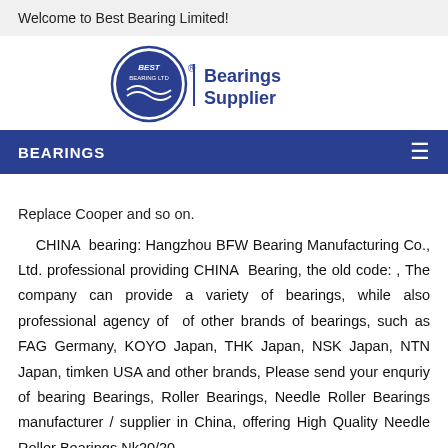Welcome to Best Bearing Limited!
[Figure (logo): Best Bearing Ltd logo with circular emblem and 'Bearings Supplier' text]
BEARINGS
Replace Cooper and so on.
CHINA bearing: Hangzhou BFW Bearing Manufacturing Co., Ltd. professional providing CHINA Bearing, the old code: , The company can provide a variety of bearings, while also professional agency of of other brands of bearings, such as FAG Germany, KOYO Japan, THK Japan, NSK Japan, NTN Japan, timken USA and other brands, Please send your enquriy of bearing Bearings, Roller Bearings, Needle Roller Bearings manufacturer / supplier in China, offering High Quality Needle Roller Bearings Nk20/20,